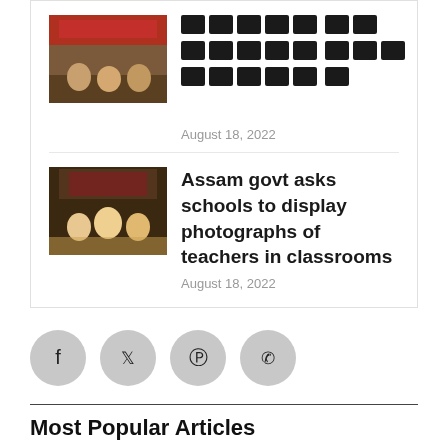[Figure (photo): Thumbnail image for first article — people with banner in outdoor setting]
[redacted script text] — article title in non-Latin script
August 18, 2022
[Figure (photo): Thumbnail image showing people seated at a table in formal setting]
Assam govt asks schools to display photographs of teachers in classrooms
August 18, 2022
[Figure (infographic): Social sharing icons: Facebook, Twitter, Pinterest, WhatsApp]
Most Popular Articles
[redacted script text] — article title in non-Latin script